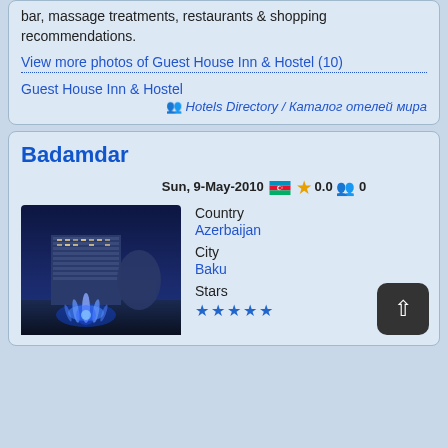bar, massage treatments, restaurants & shopping recommendations.
View more photos of Guest House Inn & Hostel (10)
Guest House Inn & Hostel
🚶 Hotels Directory / Каталог отелей мира
Badamdar
Sun, 9-May-2010  🇦🇿 ⭐ 0.0 🚶 0
[Figure (photo): Hotel building at night with illuminated blue fountain in foreground]
Country
Azerbaijan
City
Baku
Stars